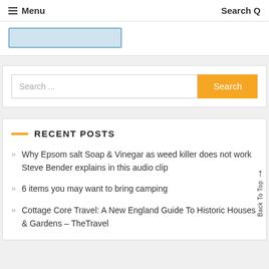Menu   Search
[Figure (screenshot): Blue highlighted input box area]
Search ...
RECENT POSTS
Why Epsom salt Soap & Vinegar as weed killer does not work Steve Bender explains in this audio clip
6 items you may want to bring camping
Cottage Core Travel: A New England Guide To Historic Houses & Gardens – TheTravel